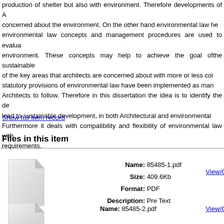production of shelter but also with environment. Therefore developments of A... concerned about the environment. On the other hand environmental law he... environmental law concepts and management procedures are used to evalua... environment. These concepts may help to achieve the goal ofthe sustainable... of the key areas that architects are concerned about with more or less coi... statutory provisions of environmental law have been implemented as man... Architects to follow. Therefore in this dissertation the idea is to identify the de... lead to sustainable development, in both Architectural and environmental... Furthermore it deals with compatibility and flexibility of environmental law with... requirements.
Show full item record
Files in this item
| Name | Size | Format | Description |
| --- | --- | --- | --- |
| 85485-1.pdf | 409.6Kb | PDF | Pre Text |
| Name |
| --- |
| 85485-2.pdf |